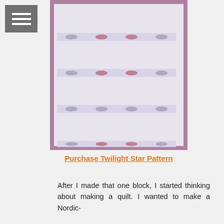[Figure (illustration): Quilt pattern called Twilight Star showing a 4-column grid of geometric star/snowflake blocks in teal, light blue, mauve/pink, and white, surrounded by a mauve/dusty rose border]
Purchase Twilight Star Pattern
After I made that one block, I started thinking about making a quilt. I wanted to make a Nordic-